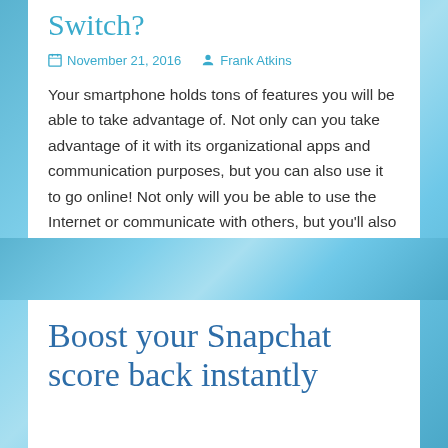Switch?
November 21, 2016   Frank Atkins
Your smartphone holds tons of features you will be able to take advantage of. Not only can you take advantage of it with its organizational apps and communication purposes, but you can also use it to go online! Not only will you be able to use the Internet or communicate with others, but you'll also [...]
Apps
Boost your Snapchat score back instantly